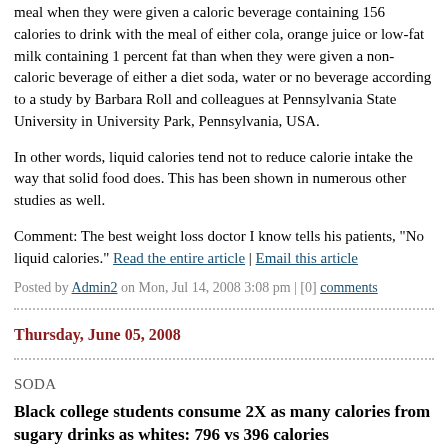meal when they were given a caloric beverage containing 156 calories to drink with the meal of either cola, orange juice or low-fat milk containing 1 percent fat than when they were given a non-caloric beverage of either a diet soda, water or no beverage according to a study by Barbara Roll and colleagues at Pennsylvania State University in University Park, Pennsylvania, USA.
In other words, liquid calories tend not to reduce calorie intake the way that solid food does. This has been shown in numerous other studies as well.
Comment: The best weight loss doctor I know tells his patients, "No liquid calories." Read the entire article | Email this article
Posted by Admin2 on Mon, Jul 14, 2008 3:08 pm | [0] comments
Thursday, June 05, 2008
SODA
Black college students consume 2X as many calories from sugary drinks as whites: 796 vs 396 calories